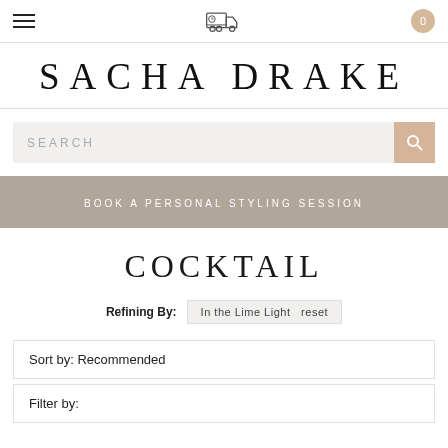Navigation bar with hamburger menu, truck/delivery icon, and cart (0)
SACHA DRAKE
SEARCH
BOOK A PERSONAL STYLING SESSION
COCKTAIL
Refining By: In the Lime Light reset
Sort by: Recommended
Filter by: